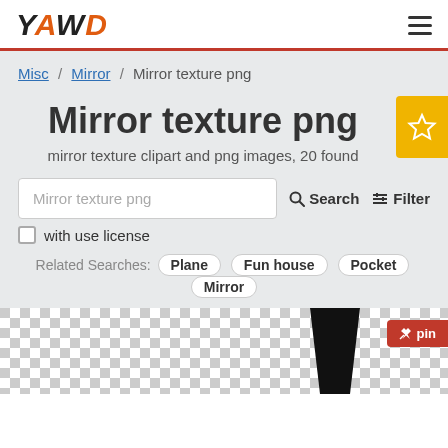YAWD
Misc / Mirror / Mirror texture png
Mirror texture png
mirror texture clipart and png images, 20 found
Mirror texture png
with use license
Related Searches: Plane Fun house Pocket Mirror
[Figure (screenshot): Checkerboard transparent background preview with a black geometric shape visible, and a red 'pin' button overlay in the bottom right corner]